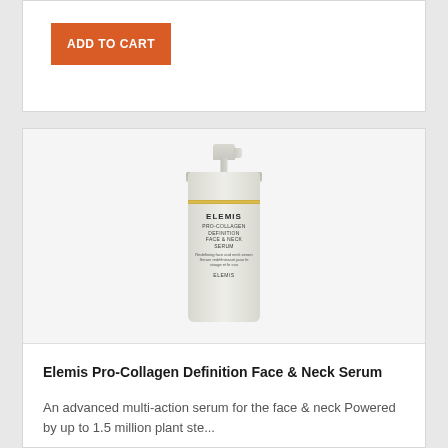[Figure (other): Orange 'ADD TO CART' button on a white card background]
[Figure (photo): Elemis Pro-Collagen Definition Face & Neck Serum product bottle — a tall slim pump-dispenser bottle with silver/white cap and pale green-white label showing the ELEMIS brand name and product details]
Elemis Pro-Collagen Definition Face & Neck Serum
An advanced multi-action serum for the face & neck Powered by up to 1.5 million plant ste...